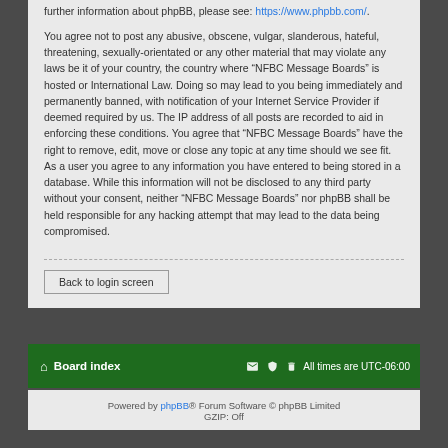further information about phpBB, please see: https://www.phpbb.com/.
You agree not to post any abusive, obscene, vulgar, slanderous, hateful, threatening, sexually-orientated or any other material that may violate any laws be it of your country, the country where “NFBC Message Boards” is hosted or International Law. Doing so may lead to you being immediately and permanently banned, with notification of your Internet Service Provider if deemed required by us. The IP address of all posts are recorded to aid in enforcing these conditions. You agree that “NFBC Message Boards” have the right to remove, edit, move or close any topic at any time should we see fit. As a user you agree to any information you have entered to being stored in a database. While this information will not be disclosed to any third party without your consent, neither “NFBC Message Boards” nor phpBB shall be held responsible for any hacking attempt that may lead to the data being compromised.
Back to login screen
Board index | All times are UTC-06:00
Powered by phpBB® Forum Software © phpBB Limited
GZIP: Off